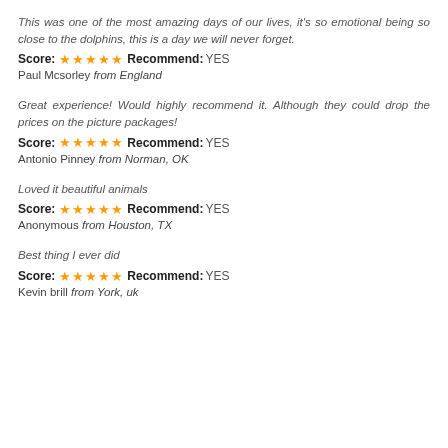This was one of the most amazing days of our lives, it's so emotional being so close to the dolphins, this is a day we will never forget.
Score: ★★★★★ Recommend: YES
Paul Mcsorley from England
Great experience! Would highly recommend it. Although they could drop the prices on the picture packages!
Score: ★★★★★ Recommend: YES
Antonio Pinney from Norman, OK
Loved it beautiful animals
Score: ★★★★★ Recommend: YES
Anonymous from Houston, TX
Best thing I ever did
Score: ★★★★★ Recommend: YES
Kevin brill from York, uk